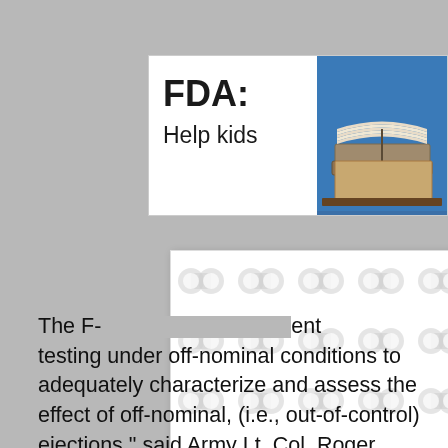[Figure (screenshot): FDA article card with title 'FDA:' and subtitle 'Help kids' with a photo of stacked books on blue background]
[Figure (other): Modal overlay with repeating dot/dumbbell pattern in light gray on white, with an X close button]
The F- [partially obscured] ent testing under off-nominal conditions to adequately characterize and assess the effect of off-nominal, (i.e., out-of-control) ejections," said Army Lt. Col. Roger Cabiness, a spokesman for